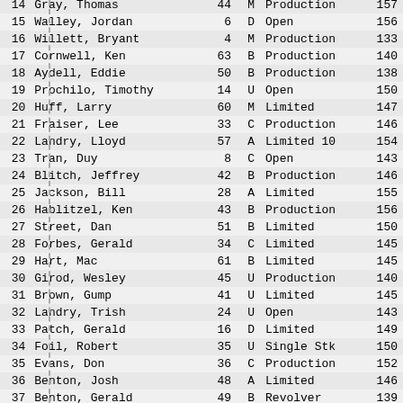| # | Name | Entry | Class | Division | Score |
| --- | --- | --- | --- | --- | --- |
| 14 | Gray, Thomas | 44 | M | Production | 157 |
| 15 | Walley, Jordan | 6 | D | Open | 156 |
| 16 | Willett, Bryant | 4 | M | Production | 133 |
| 17 | Cornwell, Ken | 63 | B | Production | 140 |
| 18 | Aydell, Eddie | 50 | B | Production | 138 |
| 19 | Prochilo, Timothy | 14 | U | Open | 150 |
| 20 | Huff, Larry | 60 | M | Limited | 147 |
| 21 | Fraiser, Lee | 33 | C | Production | 146 |
| 22 | Landry, Lloyd | 57 | A | Limited 10 | 154 |
| 23 | Tran, Duy | 8 | C | Open | 143 |
| 24 | Blitch, Jeffrey | 42 | B | Production | 146 |
| 25 | Jackson, Bill | 28 | A | Limited | 155 |
| 26 | Hablitzel, Ken | 43 | B | Production | 156 |
| 27 | Street, Dan | 51 | B | Limited | 150 |
| 28 | Forbes, Gerald | 34 | C | Limited | 145 |
| 29 | Hart, Mac | 61 | B | Limited | 145 |
| 30 | Girod, Wesley | 45 | U | Production | 140 |
| 31 | Brown, Gump | 41 | U | Limited | 145 |
| 32 | Landry, Trish | 24 | U | Open | 143 |
| 33 | Patch, Gerald | 16 | D | Limited | 149 |
| 34 | Foil, Robert | 35 | U | Single Stk | 150 |
| 35 | Evans, Don | 36 | C | Production | 152 |
| 36 | Benton, Josh | 48 | A | Limited | 146 |
| 37 | Benton, Gerald | 49 | B | Revolver | 139 |
| 38 | Sandifer, Mitchell | 13 | U | Open | 149 |
| 39 | Kimmerly, Shawn | 25 | U | Limited | 149 |
| 40 | ... | ... | U | Production | ... |